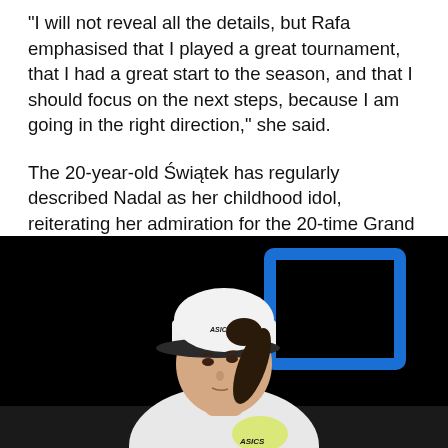“I will not reveal all the details, but Rafa emphasised that I played a great tournament, that I had a great start to the season, and that I should focus on the next steps, because I am going in the right direction,” she said.
The 20-year-old Świątek has regularly described Nadal as her childhood idol, reiterating her admiration for the 20-time Grand Slam winner in a BBC Sport column this month.
[Figure (photo): A young female tennis player wearing a white ASICS cap and white sleeveless tennis top with yellow accents, looking upward. A blue square Australian Open logo is visible in the dark background behind her.]